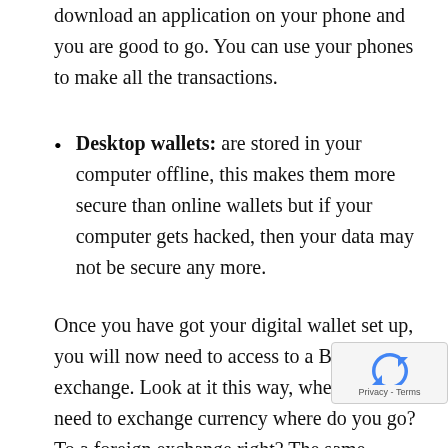download an application on your phone and you are good to go. You can use your phones to make all the transactions.
Desktop wallets: are stored in your computer offline, this makes them more secure than online wallets but if your computer gets hacked, then your data may not be secure any more.
Once you have got your digital wallet set up, you will now need to access to a Bitcoin exchange. Look at it this way, when you need to exchange currency where do you go? To a foreign exchange right? The same applies to bitcoins. You will need to convert your dollars or your respective currency into bitcoins, this is how will purchase bitcoins so logically, you will need a bitcoin exchange. But since bitcoin is a digital